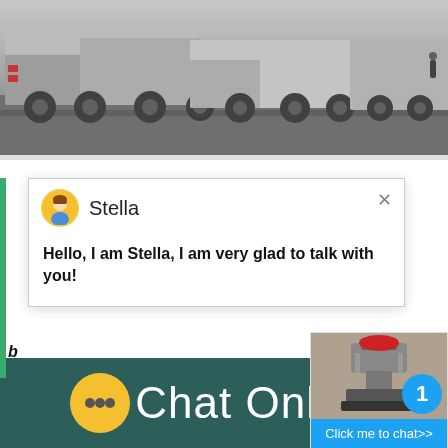[Figure (photo): Row of large industrial trucks/milling machines parked on a road, side view, grey sky background]
[Figure (screenshot): Chat popup widget with avatar of Stella, message: Hello, I am Stella, I am very glad to talk with you!, and close button]
b
sand A ball mill a type of grinder is a cylindri grinding or mixing materials like ores chemic materials and mills rotate around a horizontal with the material to be ground plus the grindi
[Figure (photo): Industrial cone crusher machine widget image with blue badge showing number 1 and Click me to chat>> button]
Chat Online